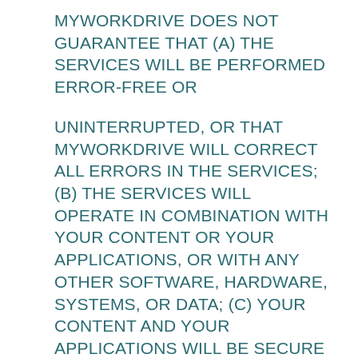MYWORKDRIVE DOES NOT GUARANTEE THAT (A) THE SERVICES WILL BE PERFORMED ERROR-FREE OR UNINTERRUPTED, OR THAT MYWORKDRIVE WILL CORRECT ALL ERRORS IN THE SERVICES; (B) THE SERVICES WILL OPERATE IN COMBINATION WITH YOUR CONTENT OR YOUR APPLICATIONS, OR WITH ANY OTHER SOFTWARE, HARDWARE, SYSTEMS, OR DATA; (C) YOUR CONTENT AND YOUR APPLICATIONS WILL BE SECURE OR NOT OTHERWISE LOST OR DAMAGED; AND (D) THE SERVICES, INCLUDING ANY PRODUCTS, INFORMATION OR OTHER MATERIAL YOU OBTAIN OR PURCHASE FROM